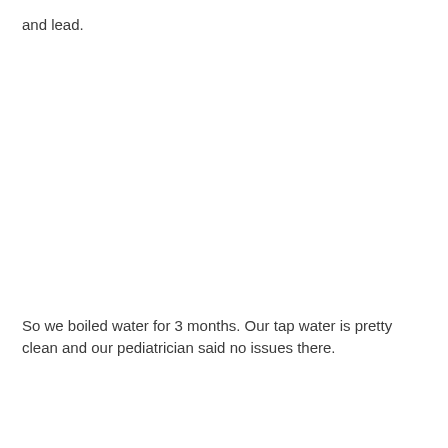and lead.
So we boiled water for 3 months. Our tap water is pretty clean and our pediatrician said no issues there.